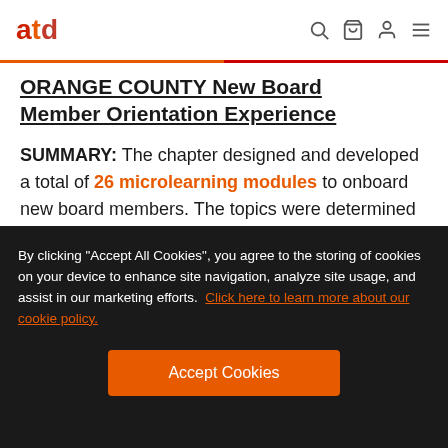atd [navigation icons: search, cart, account, menu]
ORANGE COUNTY New Board Member Orientation Experience
SUMMARY: The chapter designed and developed a total of 26 microlearning modules to onboard new board members. The topics were determined by interviewing current…
By clicking "Accept All Cookies", you agree to the storing of cookies on your device to enhance site navigation, analyze site usage, and assist in our marketing efforts. Click here to learn more about our cookie policy.
Accept Cookies